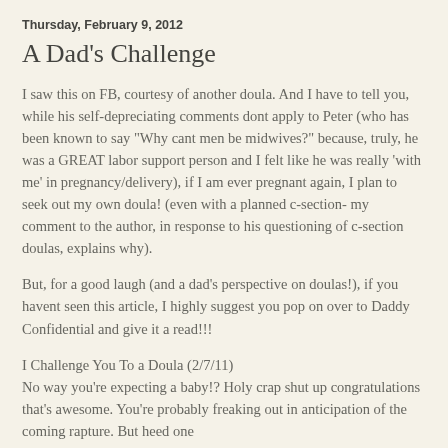Thursday, February 9, 2012
A Dad's Challenge
I saw this on FB, courtesy of another doula. And I have to tell you, while his self-depreciating comments dont apply to Peter (who has been known to say "Why cant men be midwives?" because, truly, he was a GREAT labor support person and I felt like he was really 'with me' in pregnancy/delivery), if I am ever pregnant again, I plan to seek out my own doula! (even with a planned c-section- my comment to the author, in response to his questioning of c-section doulas, explains why).
But, for a good laugh (and a dad's perspective on doulas!), if you havent seen this article, I highly suggest you pop on over to Daddy Confidential and give it a read!!!
I Challenge You To a Doula (2/7/11)
No way you're expecting a baby!? Holy crap shut up congratulations that's awesome. You're probably freaking out in anticipation of the coming rapture. But heed one